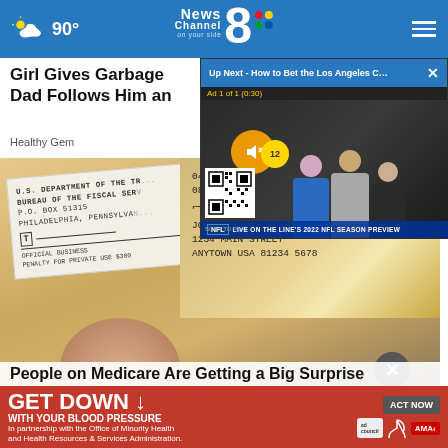[Figure (screenshot): News Channel 8 website header with weather (partly cloudy, 90°), News Channel 8 NBC logo centered, hamburger menu icon on right, blue background]
Girl Gives Garbage Dad Follows Him an
Healthy Gem
[Figure (photo): Close-up photo of a government check from U.S. Department of the Treasury, Bureau of the Fiscal Service, P.O. Box 51315, Philadelphia, Pennsylvania. Check detail showing: 04 24 20 2409880 KANSAS CITY, 08464928692 041 438494 I, JOHN OE, 1234 MAIN STREET, ANYTOWN USA 81234 5678. Someone's thumb holding the check.]
[Figure (screenshot): Video player popup overlay: Up Next - How to Bet the Los Angeles C... with close X button. Ad 1 of 1 (0:30) label. Muted orange button. NFL studio show with three people. NFL bar: LIVE ON THE LINE'S 2022 NFL SEASON PREVIEW. QR code at bottom left. SCAN TO PLAY text.]
People on Medicare Are Getting a Big Surprise
[Figure (screenshot): Red advertisement banner: GET DOWN (with down arrow) WITH YOUR BLOOD PRESSURE. In partnership with the Office of Minority Health and Health Resources & Services Administration. ACT NOW button. ad council logo, heart logo, AMA logo.]